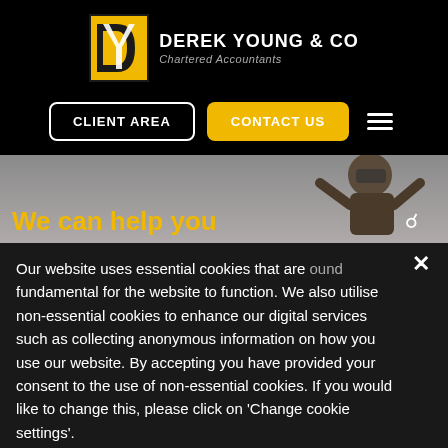[Figure (logo): Derek Young & Co Chartered Accountants logo — yellow/black DY monogram with white company name and subtitle]
[Figure (screenshot): Navigation bar with CLIENT AREA (outlined button) and CONTACT US (yellow button) and hamburger menu icon]
[Figure (photo): Hero image: child in aviator goggles and helmet with arms raised against grey sky background]
We can help you
Our website uses essential cookies that are fundamental for the website to function. We also utilise non-essential cookies to enhance our digital services such as collecting anonymous information on how you use our website. By accepting you have provided your consent to the use of non-essential cookies. If you would like to change this, please click on 'Change cookie settings'.
Accept & Close
Change cookie settings